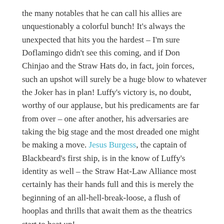the many notables that he can call his allies are unquestionably a colorful bunch! It's always the unexpected that hits you the hardest – I'm sure Doflamingo didn't see this coming, and if Don Chinjao and the Straw Hats do, in fact, join forces, such an upshot will surely be a huge blow to whatever the Joker has in plan! Luffy's victory is, no doubt, worthy of our applause, but his predicaments are far from over – one after another, his adversaries are taking the big stage and the most dreaded one might be making a move. Jesus Burgess, the captain of Blackbeard's first ship, is in the know of Luffy's identity as well – the Straw Hat-Law Alliance most certainly has their hands full and this is merely the beginning of an all-hell-break-loose, a flush of hooplas and thrills that await them as the theatrics start to heat up!
Random tidbits:
The "Drill" is back alright! – Splitting the arena in half? A piece of cake!
Derp face, take one! Derp face, take two! – Popping-eyeballs